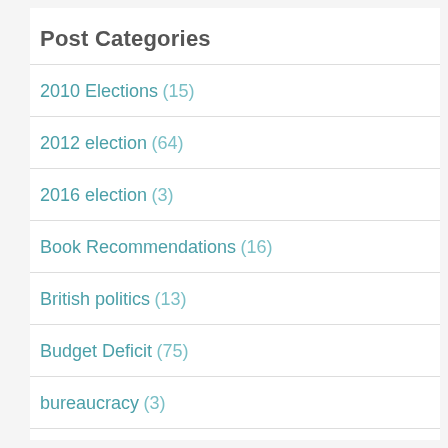Post Categories
2010 Elections (15)
2012 election (64)
2016 election (3)
Book Recommendations (16)
British politics (13)
Budget Deficit (75)
bureaucracy (3)
Canadian politics (2)